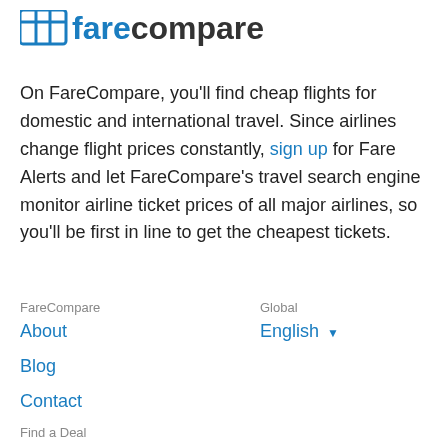[Figure (logo): FareCompare logo with blue grid icon and blue/dark text 'farecompare']
On FareCompare, you'll find cheap flights for domestic and international travel. Since airlines change flight prices constantly, sign up for Fare Alerts and let FareCompare's travel search engine monitor airline ticket prices of all major airlines, so you'll be first in line to get the cheapest tickets.
FareCompare
About
Blog
Contact
Global
English ▾
Find a Deal
Today's Deals
Book from... City...